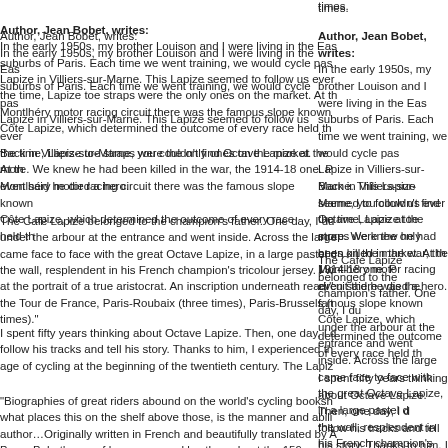times.
Author, Jean Bobet, writes:
In the early 1950s, my brother Louison and I were living in the Eastern suburbs of Paris. Each time we went training, we would cycle past a Lapize in Villiers-sur-Marne. This Lapize seemed to follow us everywhere. At the time, Lapize toe straps were the only ones on the market. At the Montlhéry motor racing circuit there was the famous slope known as the Côte Lapize, which determined the outcome of every race held th...
Back in Villiers-sur-Marne, you couldn't find Octave Lapize at the shop any more. We knew he had been killed in the war, the 1914-18 one. People even said he died a hero.
The Café Lapize belonged to the champion's father. One day, I ducked under the arbour at the entrance and went inside. Across the large room I came face to face with the great Octave Lapize, in a large pastel drawing on the wall, resplendent in his French champion's tricolour jersey. I was looking at the portrait of a true aristocrat. An inscription underneath read "Winner of the Tour de France, Paris-Roubaix (three times), Paris-Brussels (three times)."
I spent fifty years thinking about Octave Lapize. Then, one day, I decided to follow his tracks and tell his story. Thanks to him, I experienced the golden age of cycling at the beginning of the twentieth century. The Lapiz...
"Biographies of great riders abound on the world's cycling bookshelves; what places this on the shelf above those, is the manner and ability of the author…Originally written in French and beautifully translated by Adam Berry, Bobet's use of language sparkles throughout the 159 pages…The last word on Octave Lapize has been laid before us in a manner that educates subliminally, while seeming to be mere story telling – the art of a true master."